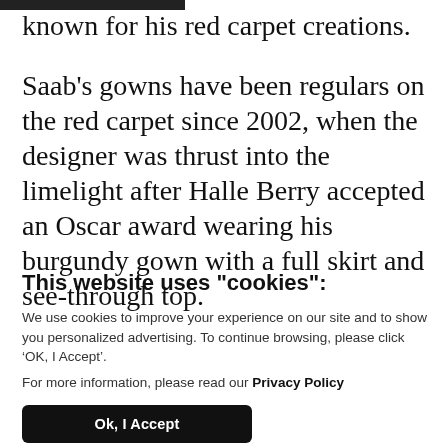known for his red carpet creations.
Saab's gowns have been regulars on the red carpet since 2002, when the designer was thrust into the limelight after Halle Berry accepted an Oscar award wearing his burgundy gown with a full skirt and see-through top.
This website uses "cookies":
We use cookies to improve your experience on our site and to show you personalized advertising. To continue browsing, please click ‘OK, I Accept’.
For more information, please read our Privacy Policy
Ok, I Accept